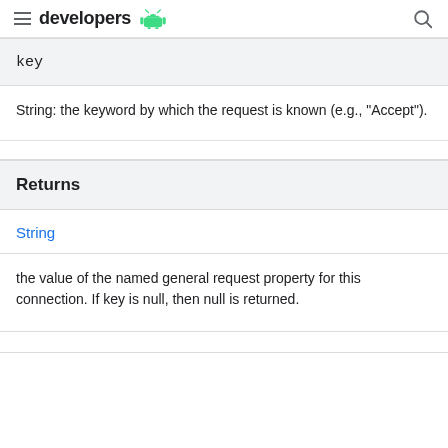developers
key
String: the keyword by which the request is known (e.g., "Accept").
Returns
String
the value of the named general request property for this connection. If key is null, then null is returned.